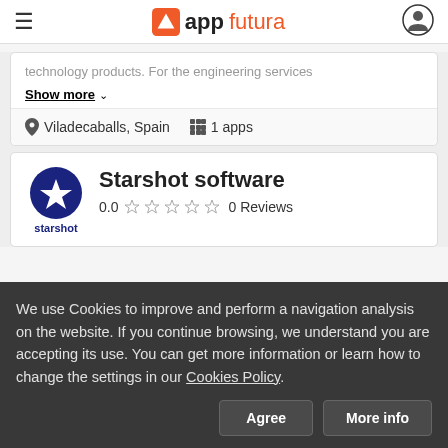appfutura
technology products. For the engineering services
Show more
Viladecaballs, Spain   1 apps
Starshot software
0.0  0 Reviews
We use Cookies to improve and perform a navigation analysis on the website. If you continue browsing, we understand you are accepting its use. You can get more information or learn how to change the settings in our Cookies Policy.
Agree
More info